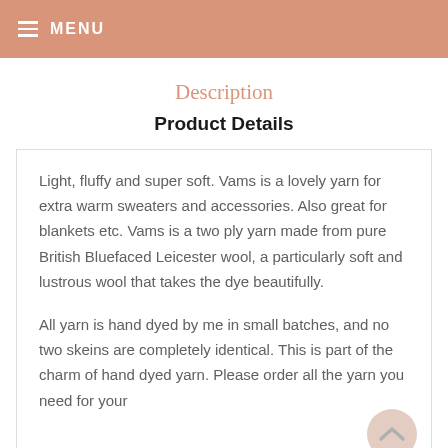≡ MENU
Description
Product Details
Light, fluffy and super soft. Vams is a lovely yarn for extra warm sweaters and accessories. Also great for blankets etc. Vams is a two ply yarn made from pure British Bluefaced Leicester wool, a particularly soft and lustrous wool that takes the dye beautifully.

All yarn is hand dyed by me in small batches, and no two skeins are completely identical. This is part of the charm of hand dyed yarn. Please order all the yarn you need for your